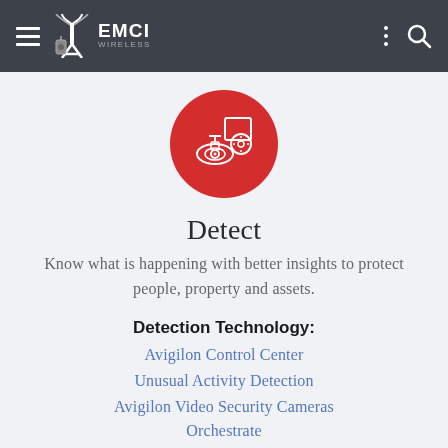EMCI WIRELESS
[Figure (illustration): Red circle icon with white security camera and shield/document icons representing detection/surveillance technology]
Detect
Know what is happening with better insights to protect people, property and assets.
Detection Technology:
Avigilon Control Center
Unusual Activity Detection
Avigilon Video Security Cameras
Orchestrate
Private LTE/Broadband